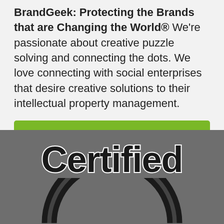BrandGeek: Protecting the Brands that are Changing the World® We're passionate about creative puzzle solving and connecting the dots. We love connecting with social enterprises that desire creative solutions to their intellectual property management.
[Figure (other): Green 'Get In Touch' button with right-facing chevron arrow]
[Figure (logo): Certified logo on dark grey background with large black bold 'Certified' text and a black arc/circle shape below]